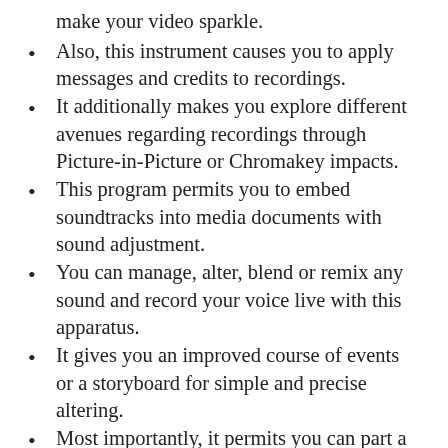make your video sparkle.
Also, this instrument causes you to apply messages and credits to recordings.
It additionally makes you explore different avenues regarding recordings through Picture-in-Picture or Chromakey impacts.
This program permits you to embed soundtracks into media documents with sound adjustment.
You can manage, alter, blend or remix any sound and record your voice live with this apparatus.
It gives you an improved course of events or a storyboard for simple and precise altering.
Most importantly, it permits you can part a video into scenes to erase superfluous